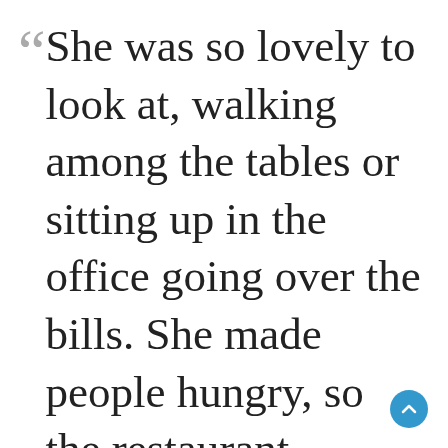She was so lovely to look at, walking among the tables or sitting up in the office going over the bills. She made people hungry, so the restaurant business boomed. And she made people horny, so the rooms boomed louder.